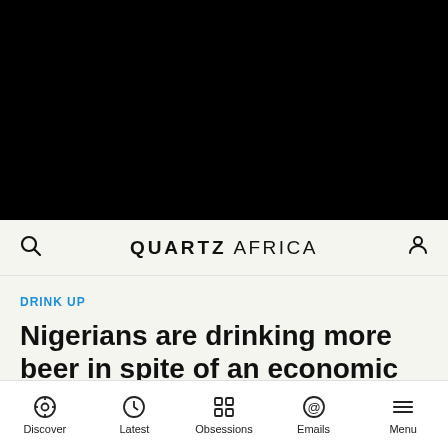[Figure (photo): Large black image area at top of page, appears to be a dark/blacked-out photo]
QUARTZ AFRICA
DRINK UP
Nigerians are drinking more beer in spite of an economic downturn
Discover | Latest | Obsessions | Emails | Menu